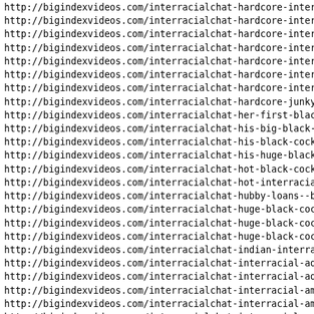http://bigindexvideos.com/interracialchat-hardcore-interrac
http://bigindexvideos.com/interracialchat-hardcore-interrac
http://bigindexvideos.com/interracialchat-hardcore-interrac
http://bigindexvideos.com/interracialchat-hardcore-interrac
http://bigindexvideos.com/interracialchat-hardcore-interrac
http://bigindexvideos.com/interracialchat-hardcore-interrac
http://bigindexvideos.com/interracialchat-hardcore-interrac
http://bigindexvideos.com/interracialchat-hardcore-junky-in
http://bigindexvideos.com/interracialchat-her-first-black-c
http://bigindexvideos.com/interracialchat-his-big-black-coc
http://bigindexvideos.com/interracialchat-his-black-cock.ht
http://bigindexvideos.com/interracialchat-his-huge-black-co
http://bigindexvideos.com/interracialchat-hot-black-cock.ht
http://bigindexvideos.com/interracialchat-hot-interracial-s
http://bigindexvideos.com/interracialchat-hubby-loans--blac
http://bigindexvideos.com/interracialchat-huge-black-cock-m
http://bigindexvideos.com/interracialchat-huge-black-cock.h
http://bigindexvideos.com/interracialchat-huge-black-cocks.
http://bigindexvideos.com/interracialchat-indian-interracia
http://bigindexvideos.com/interracialchat-interracial-adopt
http://bigindexvideos.com/interracialchat-interracial-adopt
http://bigindexvideos.com/interracialchat-interracial-amate
http://bigindexvideos.com/interracialchat-interracial-amate
http://bigindexvideos.com/interracialchat-interracial-amate
http://bigindexvideos.com/interracialchat-interracial-amate
http://bigindexvideos.com/interracialchat-interracial-amate
http://bigindexvideos.com/interracialchat-interracial-anal-
http://bigindexvideos.com/interracialchat-interracial-anal-
http://bigindexvideos.com/interracialchat-interracial-anal-
http://bigindexvideos.com/interracialchat-interracial-anal-